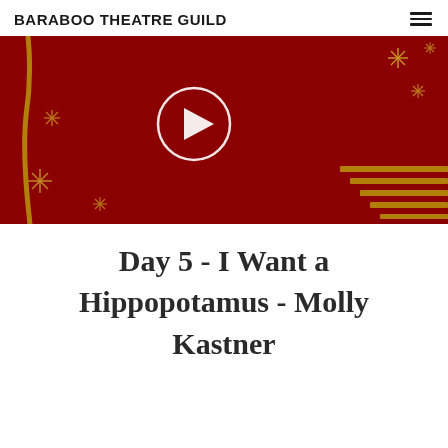BARABOO THEATRE GUILD
[Figure (screenshot): Video thumbnail with dark red background, gold decorative star/asterisk elements and horizontal lines, with a white circle play button in the center]
Day 5 - I Want a Hippopotamus - Molly Kastner